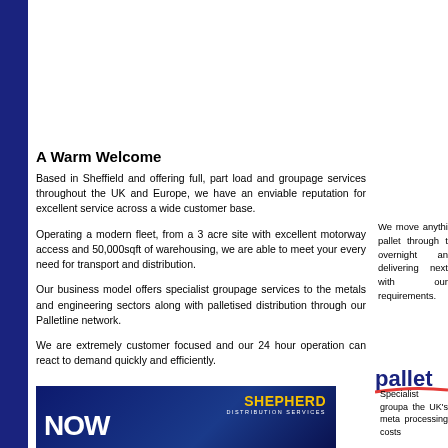A Warm Welcome
Based in Sheffield and offering full, part load and groupage services throughout the UK and Europe, we have an enviable reputation for excellent service across a wide customer base.
Operating a modern fleet, from a 3 acre site with excellent motorway access and 50,000sqft of warehousing, we are able to meet your every need for transport and distribution.
Our business model offers specialist groupage services to the metals and engineering sectors along with palletised distribution through our Palletline network.
We are extremely customer focused and our 24 hour operation can react to demand quickly and efficiently.
We move anything from a pallet through to overnight and delivering next day with our requirements.
[Figure (logo): Palletline logo in blue with red underline swoosh]
[Figure (illustration): Shepherd Distribution Services banner with dark blue background, large white NOW text and yellow SHEPHERD heading]
Specialist groupa the UK's meta processing costs